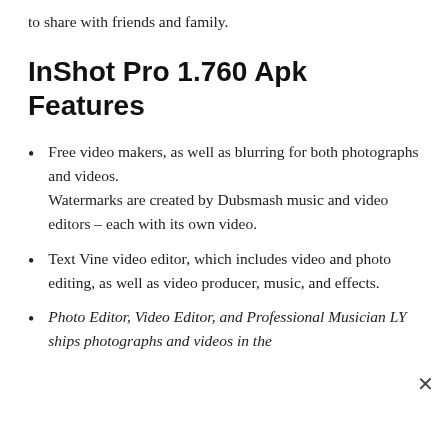to share with friends and family.
InShot Pro 1.760 Apk Features
Free video makers, as well as blurring for both photographs and videos. Watermarks are created by Dubsmash music and video editors – each with its own video.
Text Vine video editor, which includes video and photo editing, as well as video producer, music, and effects.
Photo Editor, Video Editor, and Professional Musician LY ships photographs and videos in the